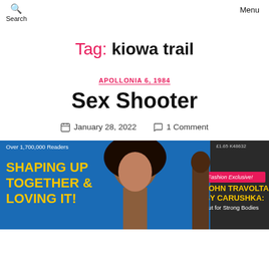Search    Menu
Tag: kiowa trail
APOLLONIA 6, 1984
Sex Shooter
January 28, 2022   1 Comment
[Figure (photo): Magazine cover showing a woman with dark curly hair, with text: Over 1,700,000 Readers, SHAPING UP TOGETHER & LOVING IT!, Fashion Exclusive! JOHN TRAVOLTA BY CARUSHKA: Cut for Strong Bodies]